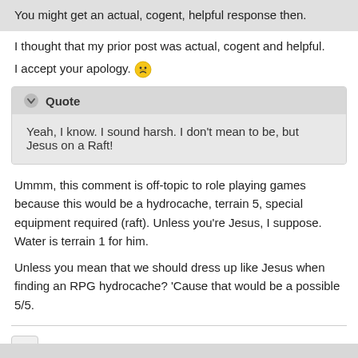You might get an actual, cogent, helpful response then.
I thought that my prior post was actual, cogent and helpful.
I accept your apology. 😠
Quote
Yeah, I know. I sound harsh. I don't mean to be, but Jesus on a Raft!
Ummm, this comment is off-topic to role playing games because this would be a hydrocache, terrain 5, special equipment required (raft). Unless you're Jesus, I suppose. Water is terrain 1 for him.
Unless you mean that we should dress up like Jesus when finding an RPG hydrocache? 'Cause that would be a possible 5/5.
+ Quote